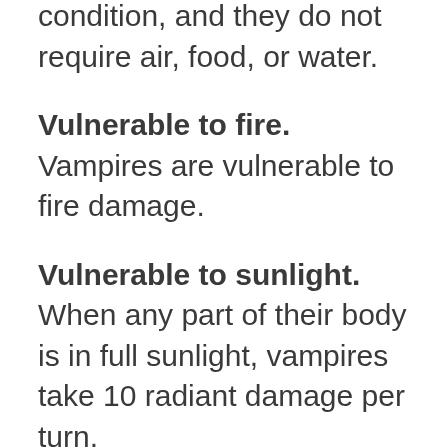condition, and they do not require air, food, or water.
Vulnerable to fire. Vampires are vulnerable to fire damage.
Vulnerable to sunlight. When any part of their body is in full sunlight, vampires take 10 radiant damage per turn.
Size. Your size is Medium.
Speed. Your base speed is 30 feet.